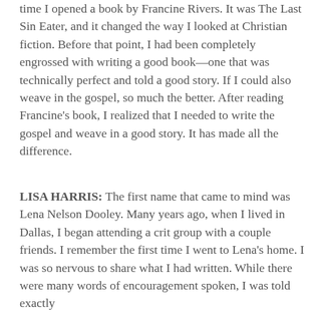time I opened a book by Francine Rivers. It was The Last Sin Eater, and it changed the way I looked at Christian fiction. Before that point, I had been completely engrossed with writing a good book—one that was technically perfect and told a good story. If I could also weave in the gospel, so much the better. After reading Francine's book, I realized that I needed to write the gospel and weave in a good story. It has made all the difference.
LISA HARRIS: The first name that came to mind was Lena Nelson Dooley. Many years ago, when I lived in Dallas, I began attending a crit group with a couple friends. I remember the first time I went to Lena's home. I was so nervous to share what I had written. While there were many words of encouragement spoken, I was told exactly